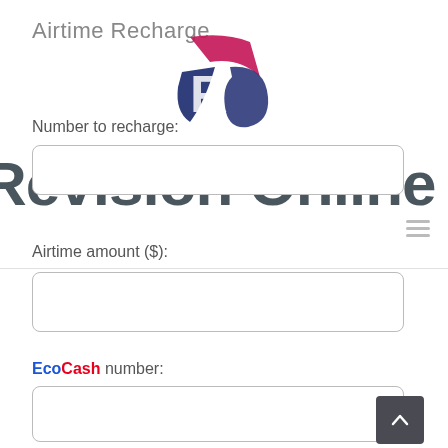Airtime Recharge
[Figure (logo): RC logo with pink/red and navy blue stylized letters on white background]
[Figure (screenshot): Revision Online watermark text overlaid on the page]
Number to recharge:
Airtime amount ($):
EcoCash number: